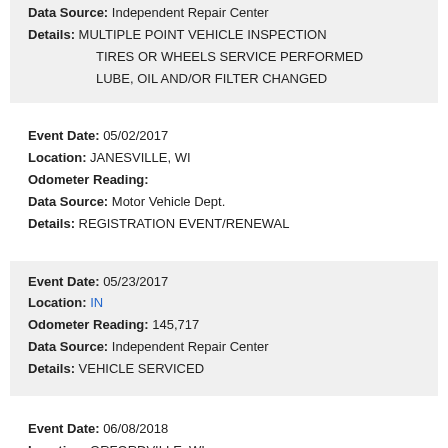Data Source: Independent Repair Center
Details: MULTIPLE POINT VEHICLE INSPECTION
TIRES OR WHEELS SERVICE PERFORMED
LUBE, OIL AND/OR FILTER CHANGED
Event Date: 05/02/2017
Location: JANESVILLE, WI
Odometer Reading:
Data Source: Motor Vehicle Dept.
Details: REGISTRATION EVENT/RENEWAL
Event Date: 05/23/2017
Location: IN
Odometer Reading: 145,717
Data Source: Independent Repair Center
Details: VEHICLE SERVICED
Event Date: 06/08/2018
Location: ORFORDVILLE, WI
Odometer Reading:
Data Source: Motor Vehicle Dept.
Details: REGISTRATION EVENT/RENEWAL